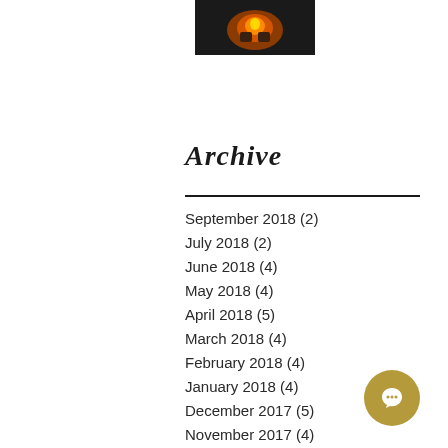[Figure (photo): Small thumbnail photo showing a figure with warm orange/fire tones]
Archive
September 2018 (2)
July 2018 (2)
June 2018 (4)
May 2018 (4)
April 2018 (5)
March 2018 (4)
February 2018 (4)
January 2018 (4)
December 2017 (5)
November 2017 (4)
October 2017 (5)
September 2017 (4)
August 2017 (4)